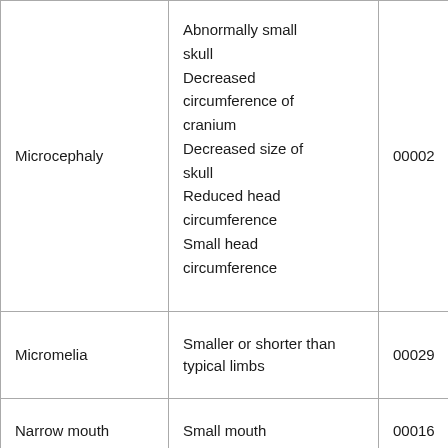| Microcephaly | Abnormally small skull
Decreased circumference of cranium
Decreased size of skull
Reduced head circumference
Small head circumference | 00002 |
| Micromelia | Smaller or shorter than typical limbs | 00029 |
| Narrow mouth | Small mouth | 000016 |
| Proximal | Attachment of |  |